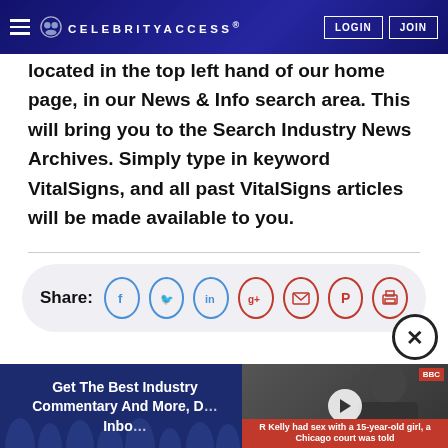CELEBRITYACCESS
located in the top left hand of our home page, in our News & Info search area. This will bring you to the Search Industry News Archives. Simply type in keyword VitalSigns, and all past VitalSigns articles will be made available to you.
[Figure (other): Share bar with social media icons: Facebook, Twitter, LinkedIn, Google+, Email, Pinterest, Print]
[Figure (other): Promotional banner: Get The Best Industry Commentary And More, Delivered To Your Inbox. With video thumbnail of R Kelly in court. Caption: R Kelly had sex with a 15-year-old girl, a Chicago court was told]